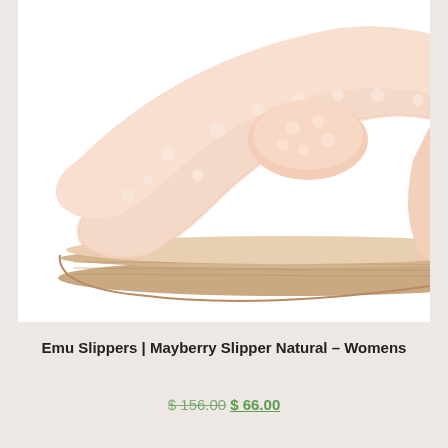[Figure (photo): Close-up photo of a fluffy peach/natural colored cross-strap slipper (Emu Mayberry Slipper) on a white background, showing the fuzzy upper straps and rubber sole from a side angle.]
Emu Slippers | Mayberry Slipper Natural – Womens
$ 156.00 $ 66.00